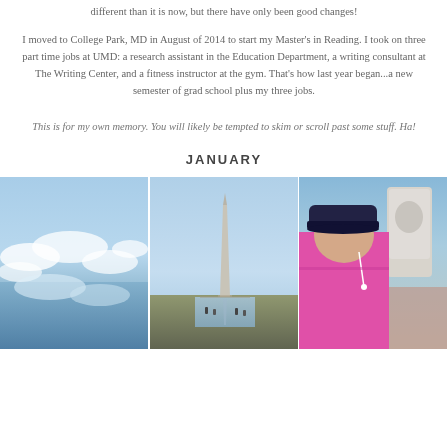different than it is now, but there have only been good changes!
I moved to College Park, MD in August of 2014 to start my Master's in Reading. I took on three part time jobs at UMD: a research assistant in the Education Department, a writing consultant at The Writing Center, and a fitness instructor at the gym. That's how last year began...a new semester of grad school plus my three jobs.
This is for my own memory. You will likely be tempted to skim or scroll past some stuff. Ha!
JANUARY
[Figure (photo): Aerial view of clouds and water/coastline]
[Figure (photo): Washington Monument with reflecting pool and visitors walking]
[Figure (photo): Woman in pink jacket and dark cap taking selfie near MLK memorial statue]